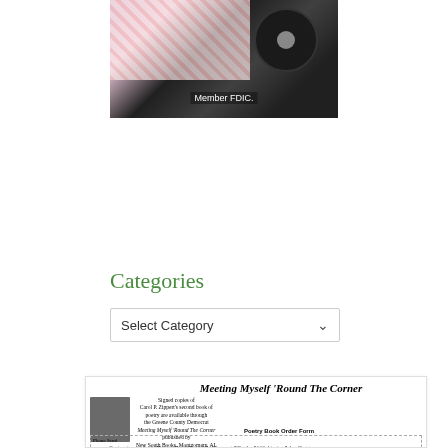[Figure (photo): A person holding a vinyl record over a floral background with 'Member FDIC.' text overlay]
Categories
Select Category
[Figure (infographic): Book advertisement for 'Meeting Myself Round The Corner' by Carol P. Zippert with photo, description of signed copies available through Greene County Democrat, Poetry Book Order Form with dashed border form fields]